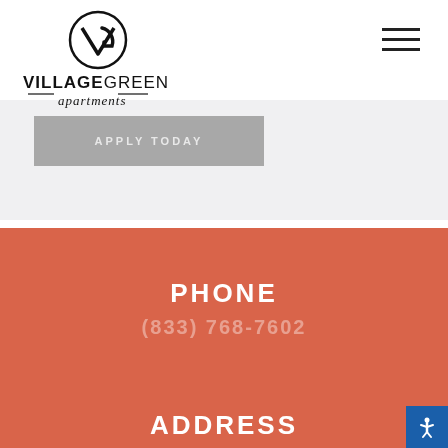[Figure (logo): Village Green Apartments logo with stylized V and G monogram above bold text VILLAGEGREEN and cursive script apartments]
[Figure (other): Hamburger menu icon with three horizontal lines]
APPLY TODAY
PHONE
(833) 768-7602
ADDRESS